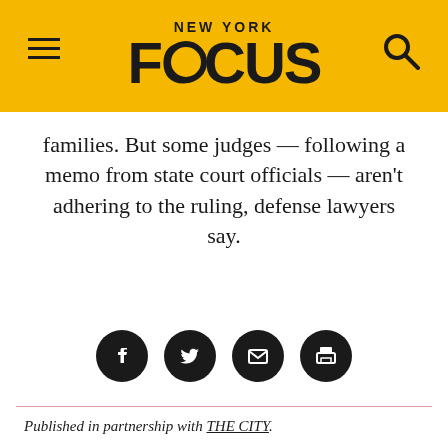NEW YORK FOCUS
families. But some judges — following a memo from state court officials — aren't adhering to the ruling, defense lawyers say.
[Figure (other): Social share icons: Facebook, Twitter, Email, Print]
Published in partnership with THE CITY.
In late June, a New York appellate court issued a landmark ruling intended to prevent people from being needlessly rendered homeless or separated